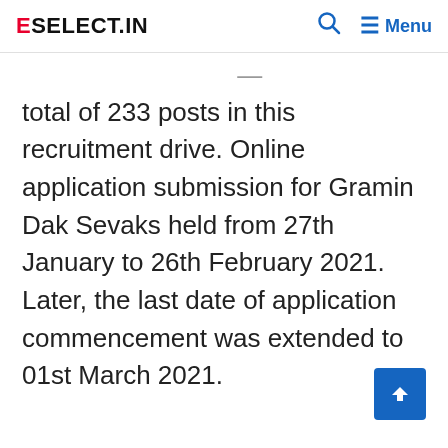ESELECT.IN — Menu
total of 233 posts in this recruitment drive. Online application submission for Gramin Dak Sevaks held from 27th January to 26th February 2021. Later, the last date of application commencement was extended to 01st March 2021.